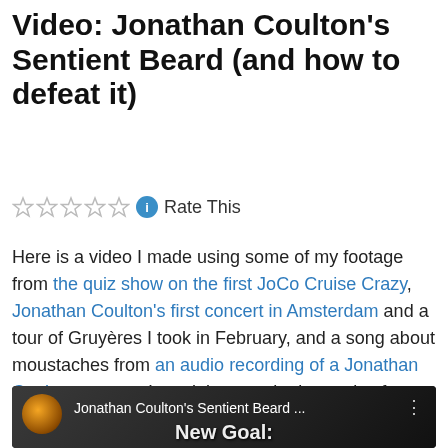Video: Jonathan Coulton's Sentient Beard (and how to defeat it)
☆☆☆☆☆ ℹ Rate This
Here is a video I made using some of my footage from the quiz show on the first JoCo Cruise Crazy, Jonathan Coulton's first concert in Amsterdam and a tour of Gruyères I took in February, and a song about moustaches from an audio recording of a Jonathan Coulton concert. It explains my ulterior motive for wanting The Bearded One to come to Switzerland.
[Figure (screenshot): YouTube video thumbnail showing 'Jonathan Coulton's Sentient Beard ...' with text 'New Goal:' overlaid on a blurred dark background.]